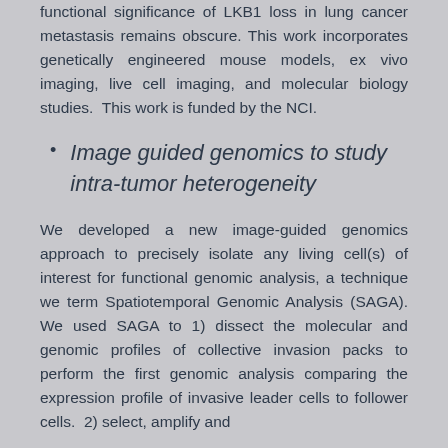functional significance of LKB1 loss in lung cancer metastasis remains obscure. This work incorporates genetically engineered mouse models, ex vivo imaging, live cell imaging, and molecular biology studies. This work is funded by the NCI.
Image guided genomics to study intra-tumor heterogeneity
We developed a new image-guided genomics approach to precisely isolate any living cell(s) of interest for functional genomic analysis, a technique we term Spatiotemporal Genomic Analysis (SAGA). We used SAGA to 1) dissect the molecular and genomic profiles of collective invasion packs to perform the first genomic analysis comparing the expression profile of invasive leader cells to follower cells. 2) select, amplify and